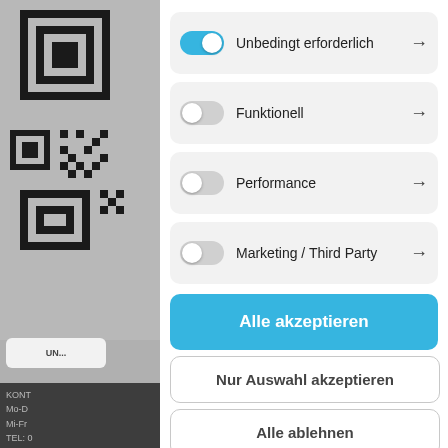[Figure (screenshot): Cookie consent modal dialog with toggle switches for Unbedingt erforderlich (on), Funktionell (off), Performance (off), Marketing / Third Party (off), and three buttons: Alle akzeptieren, Nur Auswahl akzeptieren, Alle ablehnen. Background shows a QR code and contact information partially visible behind the modal.]
Unbedingt erforderlich →
Funktionell →
Performance →
Marketing / Third Party →
Alle akzeptieren
Nur Auswahl akzeptieren
Alle ablehnen
KONT
Mo-D
Mi-Fr
TEL: 0
FAX: 0
E-Mail.